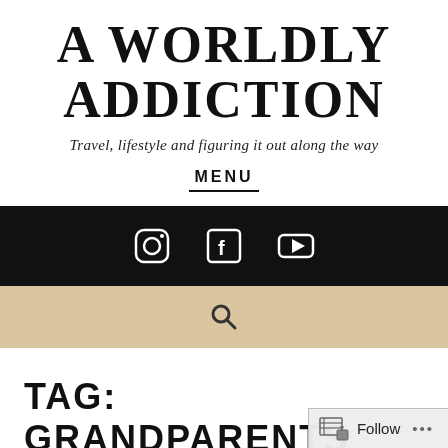A WORLDLY ADDICTION
Travel, lifestyle and figuring it out along the way
MENU
[Figure (infographic): Black navigation bar with three white social media icons: Instagram camera icon, Facebook f icon, and YouTube play button icon]
[Figure (infographic): Tan/beige search bar with a magnifying glass search icon in the center]
TAG: GRANDPARENTS
Follow ...